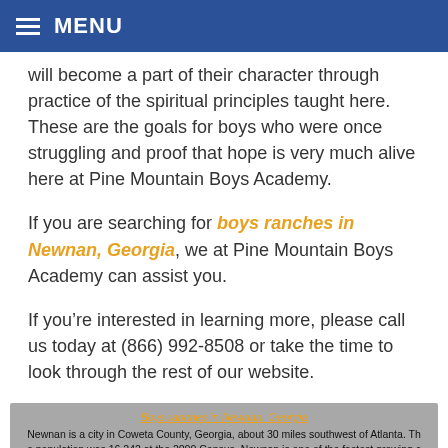MENU
will become a part of their character through practice of the spiritual principles taught here. These are the goals for boys who were once struggling and proof that hope is very much alive here at Pine Mountain Boys Academy.
If you are searching for boys ranches in Newnan, Georgia, we at Pine Mountain Boys Academy can assist you.
If you’re interested in learning more, please call us today at (866) 992-8508 or take the time to look through the rest of our website.
Boys ranches in Newnan, Georgia
Newnan is a city in Coweta County, Georgia, about 30 miles southwest of Atlanta. The population was 16,242 at the 2000 Census. Newnan is one of the fastest growing cities in Georgia, with an estimated population of 27,097 in 2006 and 33,293 in July 2008. The city is the county seat of Coweta County.
Excerpt about boys ranches in Newnan, Georgia, used with permission from Wikipedia.